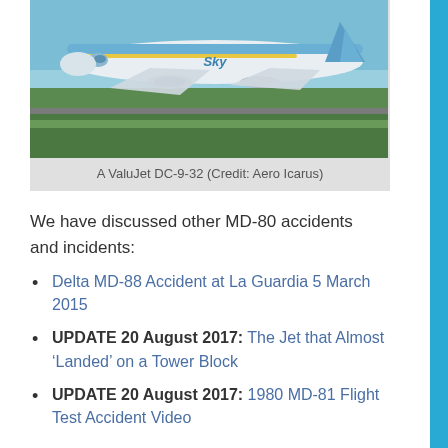[Figure (photo): A ValuJet DC-9-32 aircraft on a runway, white and blue livery with yellow accent stripe. Photo credit: Aero Icarus.]
A ValuJet DC-9-32 (Credit: Aero Icarus)
We have discussed other MD-80 accidents and incidents:
Delta MD-88 Accident at La Guardia 5 March 2015
UPDATE 20 August 2017: The Jet that Almost ‘Landed’ on a Tower Block
UPDATE 20 August 2017: 1980 MD-81 Flight Test Accident Video
Aerossurance has extensive air